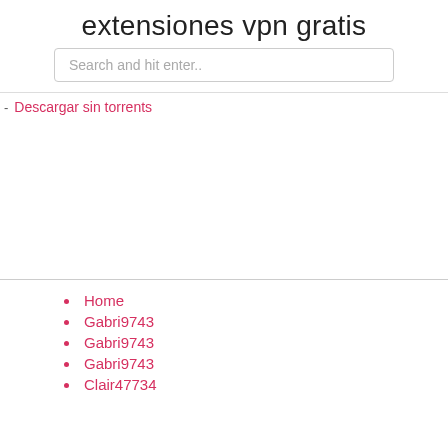extensiones vpn gratis
Search and hit enter..
Descargar sin torrents
Home
Gabri9743
Gabri9743
Gabri9743
Clair47734